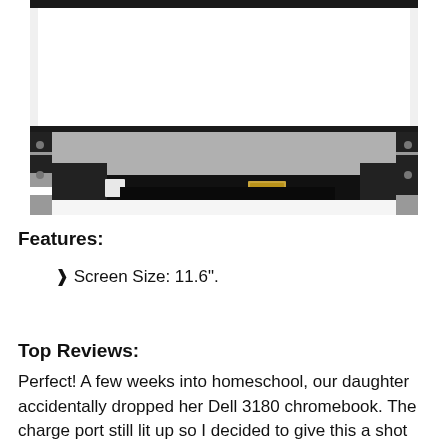[Figure (photo): Back of a laptop LCD screen panel showing silver metal frame, black ribbon cables, white labels, and a gold connector port]
Features:
> Screen Size: 11.6".
Top Reviews:
Perfect! A few weeks into homeschool, our daughter accidentally dropped her Dell 3180 chromebook. The charge port still lit up so I decided to give this a shot because let's face it,